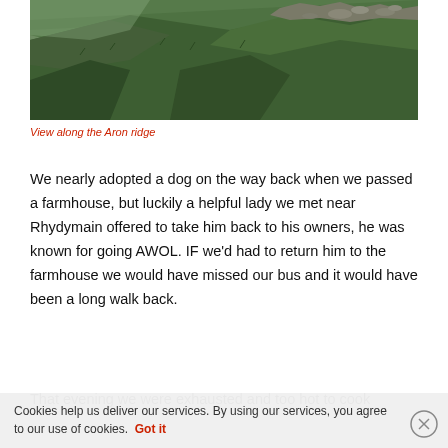[Figure (photo): View along the Aron ridge — a green rocky mountain hillside sloping steeply with mossy rocks and grassland under an overcast sky.]
View along the Aron ridge
We nearly adopted a dog on the way back when we passed a farmhouse, but luckily a helpful lady we met near Rhydymain offered to take him back to his owners, he was known for going AWOL. IF we'd had to return him to the farmhouse we would have missed our bus and it would have been a long walk back.
That evening we were exhausted and too hot to cook
Cookies help us deliver our services. By using our services, you agree to our use of cookies.  Got it